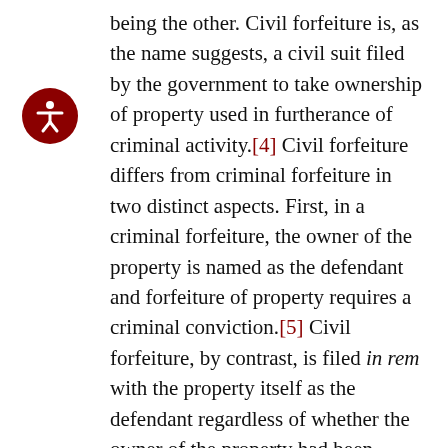being the other. Civil forfeiture is, as the name suggests, a civil suit filed by the government to take ownership of property used in furtherance of criminal activity.[4] Civil forfeiture differs from criminal forfeiture in two distinct aspects. First, in a criminal forfeiture, the owner of the property is named as the defendant and forfeiture of property requires a criminal conviction.[5] Civil forfeiture, by contrast, is filed in rem with the property itself as the defendant regardless of whether the owner of the property had been involved in the criminal activity and does not require any criminal charges against the property owner.[6] Second, the government's burden of proof in civil forfeiture cases is often lower than the burden required in a criminal proceeding.[7] While state civil forfeiture laws